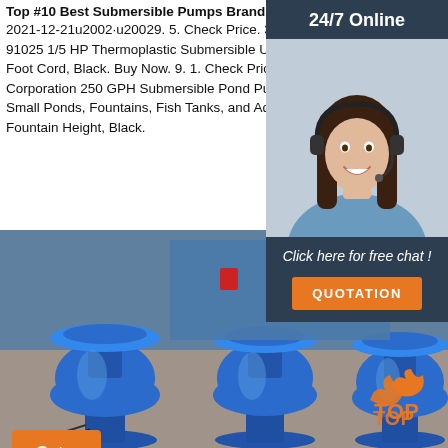Top #10 Best Submersible Pumps Brands in December 2021
2021-12-21u2002·u20029. 5. Check Price. 3. Superior Pump 91025 1/5 HP Thermoplastic Submersible Utility Pump with 10-Foot Cord, Black. Buy Now. 9. 1. Check Price. 4. Beckett Corporation 250 GPH Submersible Pond Pump - Water Pump for Small Ponds, Fountains, Fish Tanks, and Aquariums - 7.1' Max Fountain Height, Black.
Get Price
24/7 Online
[Figure (photo): Woman with headset smiling, customer service representative photo]
Click here for free chat !
QUOTATION
[Figure (photo): Three large blue industrial submersible pumps standing upright in a warehouse]